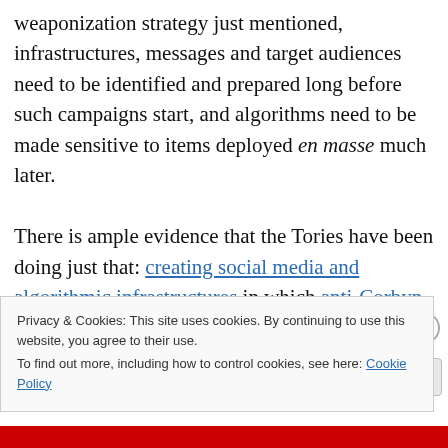weaponization strategy just mentioned, infrastructures, messages and target audiences need to be identified and prepared long before such campaigns start, and algorithms need to be made sensitive to items deployed en masse much later.

There is ample evidence that the Tories have been doing just that: creating social media and algorithmic infrastructures in which anti-Corbyn and anti-Labour campaign messages could be tested and disseminated long before elections came in sight, and
Privacy & Cookies: This site uses cookies. By continuing to use this website, you agree to their use.
To find out more, including how to control cookies, see here: Cookie Policy